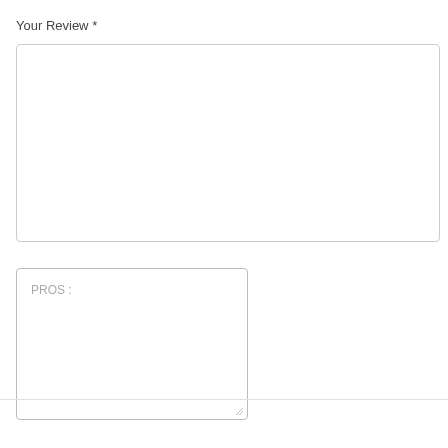Your Review *
[Figure (screenshot): Empty text area input field for review]
[Figure (screenshot): Text area input field with placeholder text PROS:]